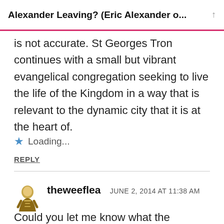Alexander Leaving? (Eric Alexander o...
is not accurate. St Georges Tron continues with a small but vibrant evangelical congregation seeking to live the life of the Kingdom in a way that is relevant to the dynamic city that it is at the heart of.
★ Loading...
REPLY
theweeflea  JUNE 2, 2014 AT 11:38 AM
Could you let me know what the inaccuracy